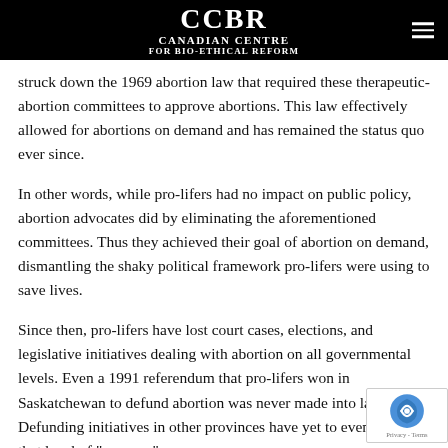CCBR CANADIAN CENTRE FOR BIO-ETHICAL REFORM
struck down the 1969 abortion law that required these therapeutic-abortion committees to approve abortions. This law effectively allowed for abortions on demand and has remained the status quo ever since.
In other words, while pro-lifers had no impact on public policy, abortion advocates did by eliminating the aforementioned committees. Thus they achieved their goal of abortion on demand, dismantling the shaky political framework pro-lifers were using to save lives.
Since then, pro-lifers have lost court cases, elections, and legislative initiatives dealing with abortion on all governmental levels. Even a 1991 referendum that pro-lifers won in Saskatchewan to defund abortion was never made into law.1 Defunding initiatives in other provinces have yet to even reach that level of “success.”